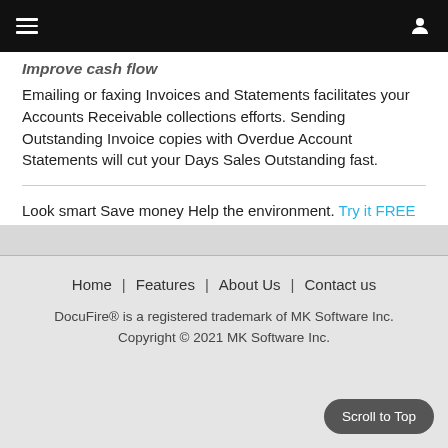Navigation bar with menu and user icon
Improve cash flow
Emailing or faxing Invoices and Statements facilitates your Accounts Receivable collections efforts. Sending Outstanding Invoice copies with Overdue Account Statements will cut your Days Sales Outstanding fast.
Look smart Save money Help the environment. Try it FREE for 30 days and see for yourself!
More features and benefits>>
Home | Features | About Us | Contact us
DocuFire® is a registered trademark of MK Software Inc.
Copyright © 2021 MK Software Inc.